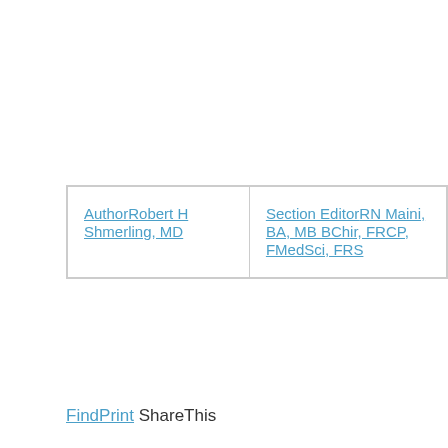| Author | Section Editor |
| --- | --- |
| Robert H Shmerling, MD | RN Maini, BA, MB BChir, FRCP, FMedSci, FRS |
FindPrint ShareThis